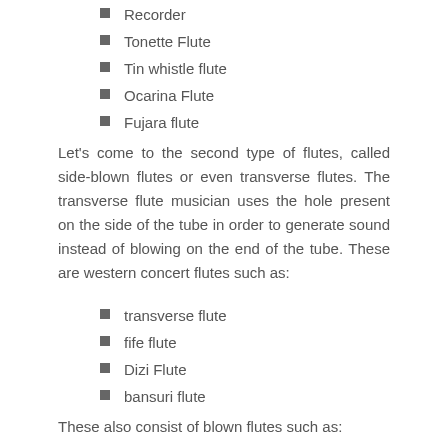Recorder
Tonette Flute
Tin whistle flute
Ocarina Flute
Fujara flute
Let's come to the second type of flutes, called side-blown flutes or even transverse flutes. The transverse flute musician uses the hole present on the side of the tube in order to generate sound instead of blowing on the end of the tube. These are western concert flutes such as:
transverse flute
fife flute
Dizi Flute
bansuri flute
These also consist of blown flutes such as:
Ney Flute
Xiao flute